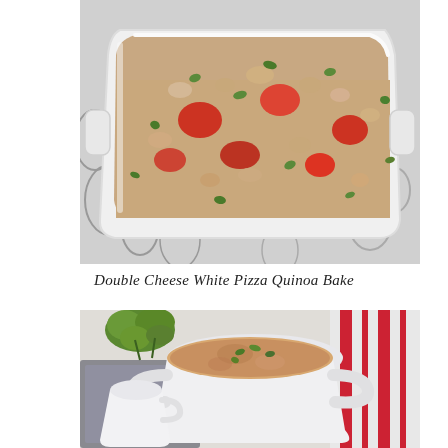[Figure (photo): A white rectangular baking dish filled with a quinoa bake topped with tomatoes, melted cheese, and fresh green herbs, sitting on a patterned grey and white tablecloth.]
Double Cheese White Pizza Quinoa Bake
[Figure (photo): A white ceramic soup crock filled with a creamy soup garnished with green herbs, accompanied by fresh parsley and a red and white striped cloth napkin in the background.]